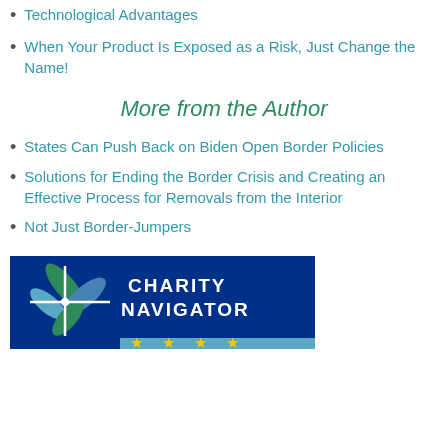Technological Advantages
When Your Product Is Exposed as a Risk, Just Change the Name!
More from the Author
States Can Push Back on Biden Open Border Policies
Solutions for Ending the Border Crisis and Creating an Effective Process for Removals from the Interior
Not Just Border-Jumpers
[Figure (logo): Charity Navigator logo with dark blue background, compass rose icon on left, text CHARITY NAVIGATOR in white bold letters, and four yellow stars at the bottom]